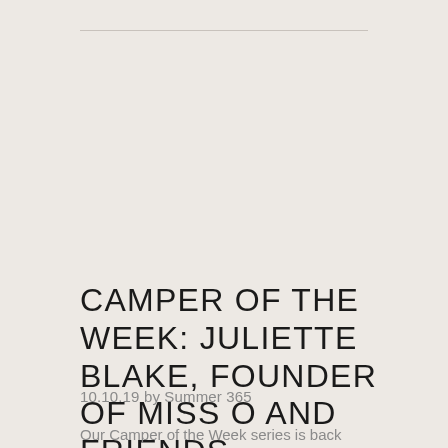CAMPER OF THE WEEK: JULIETTE BLAKE, FOUNDER OF MISS O AND FRIENDS
10.10.19 by Summer 365
Our Camper of the Week series is back